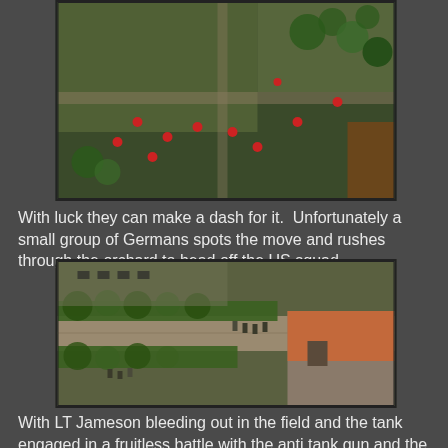[Figure (photo): Aerial view of a miniature wargame battlefield showing fields, orchards, roads and red marker tokens scattered across terrain]
With luck they can make a dash for it.  Unfortunately a small group of Germans spots the move and rushes through the orchard to head off the US squad.
[Figure (photo): Aerial view of wargame miniatures on a road next to hedgerows and a building with an orange/red tiled roof]
With LT Jameson bleeding out in the field and the tank engaged in a fruitless battle with the anti tank gun and the remainder of the squad in a firefight with the Germans, the attack on the US left flank is going nowhere.  On the right most of the advancing US troops have fallen.  This could be